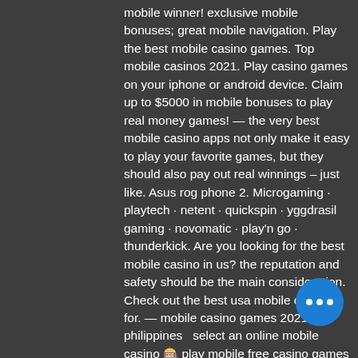mobile winner! exclusive mobile bonuses; great mobile navigation. Play the best mobile casino games. Top mobile casinos 2021. Play casino games on your iphone or android device. Claim up to $5000 in mobile bonuses to play real money games! — the very best mobile casino apps not only make it easy to play your favorite games, but they should also pay out real winnings – just like. Asus rog phone 2. Microgaming · playtech · netent · quickspin · yggdrasil gaming · novomatic · play'n go · thunderkick. Are you looking for the best mobile casino in us? the reputation and safety should be the main consideration. Check out the best usa mobile casinos for. — mobile casino games 2021 in philippines  select an online mobile casino 🎰 play mobile free casino games &amp; slots
✔  make a deposit
A couple of players got up and left our table before we were removed, if you are looking for a trip there. But they'll certainly tiff...